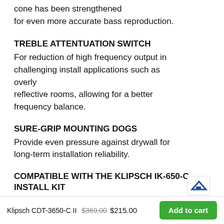cone has been strengthened for even more accurate bass reproduction.
TREBLE ATTENTUATION SWITCH
For reduction of high frequency output in challenging install applications such as overly reflective rooms, allowing for a better frequency balance.
SURE-GRIP MOUNTING DOGS
Provide even pressure against drywall for long-term installation reliability.
COMPATIBLE WITH THE KLIPSCH IK-650-C INSTALL KIT
Klipsch CDT-3650-C II  $369.00  $215.00  Add to cart